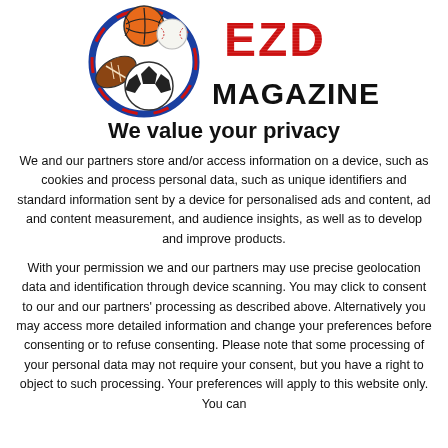[Figure (logo): EZD Magazine logo with sports balls (basketball, baseball, football, soccer ball) and bold red 'EZD' text with black 'MAGAZINE' text]
We value your privacy
We and our partners store and/or access information on a device, such as cookies and process personal data, such as unique identifiers and standard information sent by a device for personalised ads and content, ad and content measurement, and audience insights, as well as to develop and improve products.
With your permission we and our partners may use precise geolocation data and identification through device scanning. You may click to consent to our and our partners' processing as described above. Alternatively you may access more detailed information and change your preferences before consenting or to refuse consenting. Please note that some processing of your personal data may not require your consent, but you have a right to object to such processing. Your preferences will apply to this website only. You can